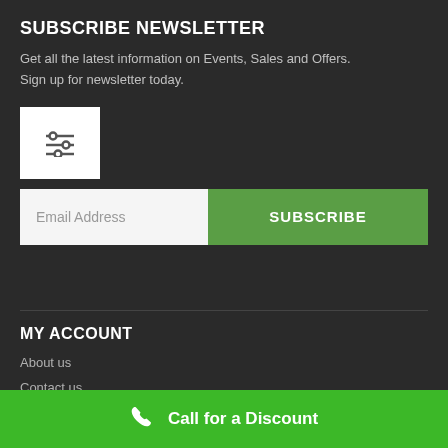SUBSCRIBE NEWSLETTER
Get all the latest information on Events, Sales and Offers. Sign up for newsletter today.
[Figure (other): Filter/settings icon button (white background box with horizontal sliders icon)]
[Figure (screenshot): Email Address input field with SUBSCRIBE green button]
MY ACCOUNT
About us
Contact us
My Account
Call for a Discount